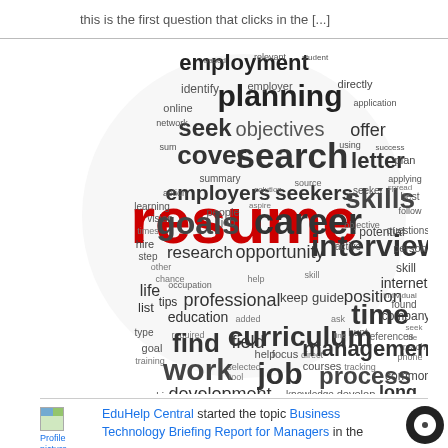this is the first question that clicks in the [...]
[Figure (infographic): Word cloud in circular shape centered on the word 'resume' in large red text, with career-related words like planning, employment, skills, career, interview, curriculum, job, experience, vitae, management, work, search, objectives, goals, seekers, employers, cover, letter, time, process, relationships, development, find, contact, position, guide, professional, tips, education, personal, email, strategy, common, long, know in various sizes and gray/dark colors]
EduHelp Central started the topic Business Technology Briefing Report for Managers in the
Profile picture of